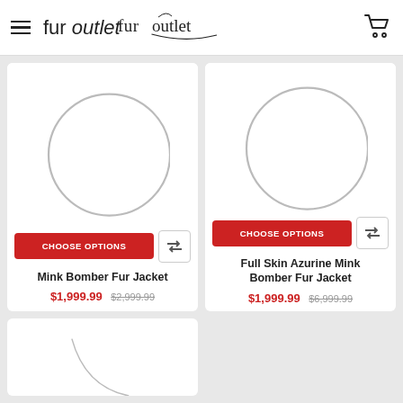fur outlet
[Figure (screenshot): Product image placeholder spinner/loading circle for Mink Bomber Fur Jacket]
CHOOSE OPTIONS
Mink Bomber Fur Jacket
$1,999.99  $2,999.99
[Figure (screenshot): Product image placeholder spinner/loading circle for Full Skin Azurine Mink Bomber Fur Jacket]
CHOOSE OPTIONS
Full Skin Azurine Mink Bomber Fur Jacket
$1,999.99  $6,999.99
[Figure (screenshot): Partial product image placeholder spinner/loading circle for third product]